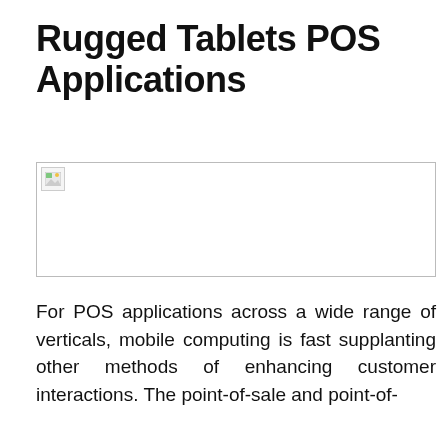Rugged Tablets POS Applications
[Figure (photo): Broken/unloaded image placeholder for a rugged tablet POS application photo]
For POS applications across a wide range of verticals, mobile computing is fast supplanting other methods of enhancing customer interactions. The point-of-sale and point-of-service applications enabled by tablet POS